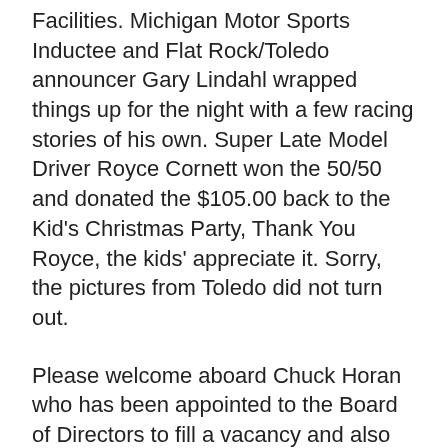Facilities. Michigan Motor Sports Inductee and Flat Rock/Toledo announcer Gary Lindahl wrapped things up for the night with a few racing stories of his own. Super Late Model Driver Royce Cornett won the 50/50 and donated the $105.00 back to the Kid's Christmas Party, Thank You Royce, the kids' appreciate it. Sorry, the pictures from Toledo did not turn out.
Please welcome aboard Chuck Horan who has been appointed to the Board of Directors to fill a vacancy and also welcome aboard to Rand Thompson who has been appointed by the Board of Directors as our new Public relations director. We will post pictures of these two gentlemen as soon as we can obtain them.